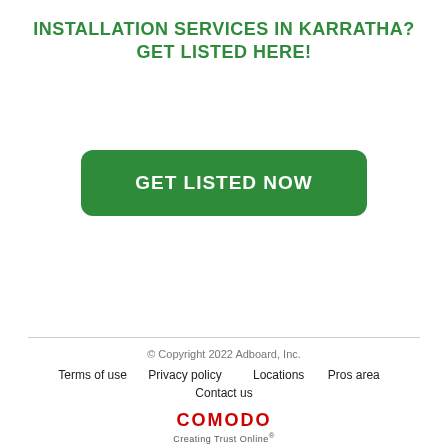INSTALLATION SERVICES IN KARRATHA?
GET LISTED HERE!
[Figure (other): Green rounded rectangle button with white bold text reading GET LISTED NOW]
© Copyright 2022 Adboard, Inc.
Terms of use   Privacy policy   Locations   Pros area   Contact us
COMODO Creating Trust Online®